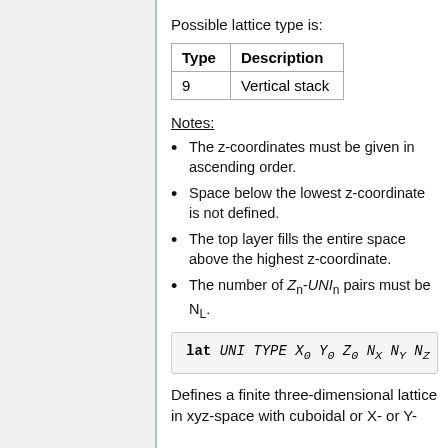Possible lattice type is:
| Type | Description |
| --- | --- |
| 9 | Vertical stack |
Notes:
The z-coordinates must be given in ascending order.
Space below the lowest z-coordinate is not defined.
The top layer fills the entire space above the highest z-coordinate.
The number of Zn-UNIn pairs must be NL.
Defines a finite three-dimensional lattice in xyz-space with cuboidal or X- or Y-